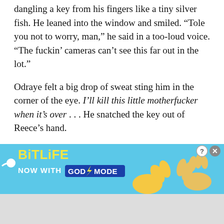dangling a key from his fingers like a tiny silver fish. He leaned into the window and smiled. “Tole you not to worry, man,” he said in a too-loud voice. “The fuckin’ cameras can’t see this far out in the lot.”
Odraye felt a big drop of sweat sting him in the corner of the eye. I’ll kill this little motherfucker when it’s over… He snatched the key out of Reece’s hand.
“Gimme the gun, motherfucker,” Odraye hissed.
Reece lifted up his shirt. The black butt of the gun stuck up next to his bellybutton.
Odraye grabbed it and jammed it into his belt.
Odraye pulled into the Taco Bell lot and jammed his Escort into park; the last of the customers walked out.
[Figure (other): BitLife advertisement banner: 'NOW WITH GOD MODE' with cartoon finger pointing hand graphics, on a blue background. Close and help buttons in top right corner.]